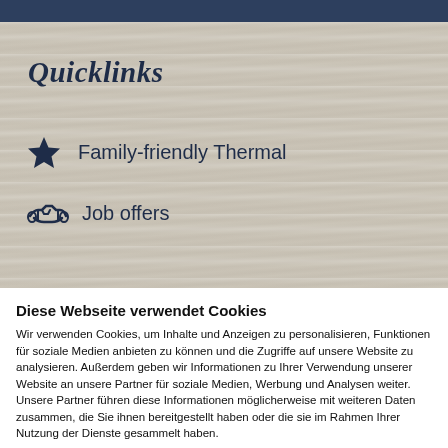[Figure (screenshot): Wood-texture background panel with Quicklinks heading, a star icon with 'Family-friendly Thermal' link, and a handshake icon with 'Job offers' link]
Diese Webseite verwendet Cookies
Wir verwenden Cookies, um Inhalte und Anzeigen zu personalisieren, Funktionen für soziale Medien anbieten zu können und die Zugriffe auf unsere Website zu analysieren. Außerdem geben wir Informationen zu Ihrer Verwendung unserer Website an unsere Partner für soziale Medien, Werbung und Analysen weiter. Unsere Partner führen diese Informationen möglicherweise mit weiteren Daten zusammen, die Sie ihnen bereitgestellt haben oder die sie im Rahmen Ihrer Nutzung der Dienste gesammelt haben.
Nur notwendige Cookies verwenden
Alle Cookies zulassen
Details zeigen